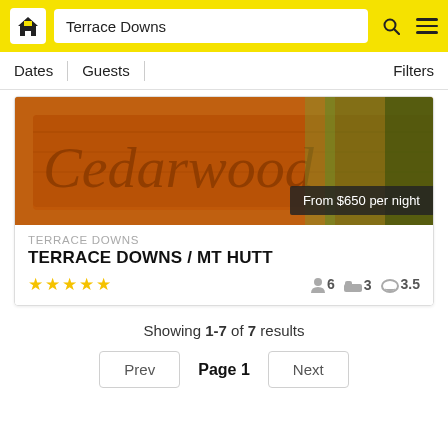Terrace Downs
Dates | Guests | Filters
[Figure (photo): Photo of a wooden Cedarwood sign with orange/brown tones and greenery in background, with price badge overlay reading 'From $650 per night']
TERRACE DOWNS
TERRACE DOWNS / MT HUTT
★★★★★  👤 6  🛏 3  🛁 3.5
Showing 1-7 of 7 results
Prev  Page 1  Next